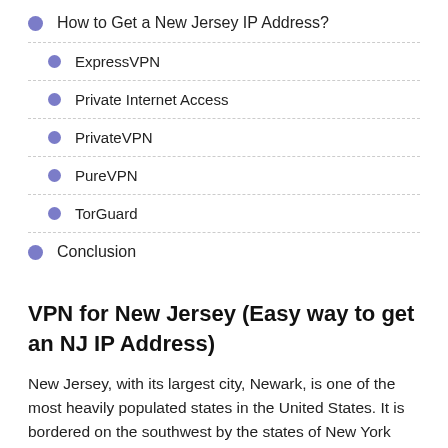How to Get a New Jersey IP Address?
ExpressVPN
Private Internet Access
PrivateVPN
PureVPN
TorGuard
Conclusion
VPN for New Jersey (Easy way to get an NJ IP Address)
New Jersey, with its largest city, Newark, is one of the most heavily populated states in the United States. It is bordered on the southwest by the states of New York